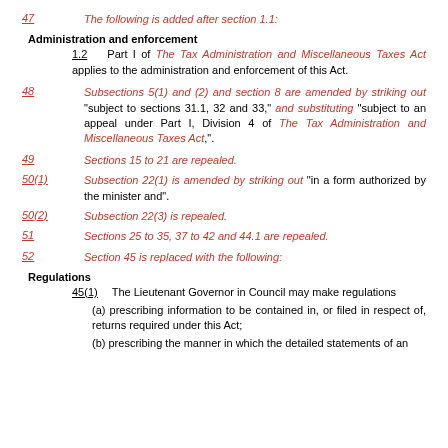47   The following is added after section 1.1:
Administration and enforcement
1.2   Part I of The Tax Administration and Miscellaneous Taxes Act applies to the administration and enforcement of this Act.
48   Subsections 5(1) and (2) and section 8 are amended by striking out "subject to sections 31.1, 32 and 33," and substituting "subject to an appeal under Part I, Division 4 of The Tax Administration and Miscellaneous Taxes Act,".
49   Sections 15 to 21 are repealed.
50(1)   Subsection 22(1) is amended by striking out "in a form authorized by the minister and".
50(2)   Subsection 22(3) is repealed.
51   Sections 25 to 35, 37 to 42 and 44.1 are repealed.
52   Section 45 is replaced with the following:
Regulations
45(1)   The Lieutenant Governor in Council may make regulations
(a) prescribing information to be contained in, or filed in respect of, returns required under this Act;
(b) prescribing the manner in which the detailed statements of an